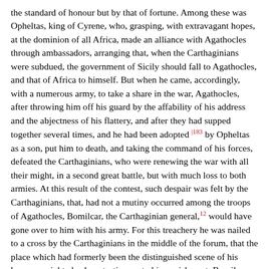the standard of honour but by that of fortune. Among these was Opheltas, king of Cyrene, who, grasping, with extravagant hopes, at the dominion of all Africa, made an alliance with Agathocles through ambassadors, arranging that, when the Carthaginians were subdued, the government of Sicily should fall to Agathocles, and that of Africa to himself. But when he came, accordingly, with a numerous army, to take a share in the war, Agathocles, after throwing him off his guard by the affability of his address and the abjectness of his flattery, and after they had supped together several times, and he had been adopted [183] by Opheltas as a son, put him to death, and taking the command of his forces, defeated the Carthaginians, who were renewing the war with all their might, in a second great battle, but with much loss to both armies. At this result of the contest, such despair was felt by the Carthaginians, that, had not a mutiny occurred among the troops of Agathocles, Bomilcar, the Carthaginian general, 12 would have gone over to him with his army. For this treachery he was nailed to a cross by the Carthaginians in the middle of the forum, that the place which had formerly been the distinguished scene of his honours might also bear testimony to his punishment. Bomilcar, however, bore the cruelty of his countrymen with such fortitude, that from his cross, as if he had been on a judgment-seat, he inveighed against the injustice of the Carthaginians, upbraiding them sometimes with "having cut off Hanno, 13 on a false charge of aspiring to